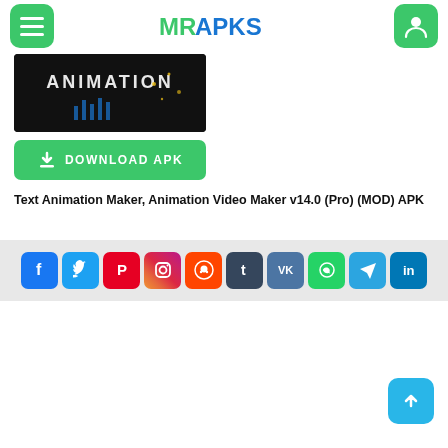MRAPKS
[Figure (screenshot): App preview image showing 'ANIMATION' text on dark background]
[Figure (other): Green DOWNLOAD APK button with download icon]
Text Animation Maker, Animation Video Maker v14.0 (Pro) (MOD) APK
[Figure (other): Social media sharing icons row: Facebook, Twitter, Pinterest, Instagram, Reddit, Tumblr, VK, WhatsApp, Telegram, LinkedIn]
[Figure (other): Back to top button (light blue with up arrow)]